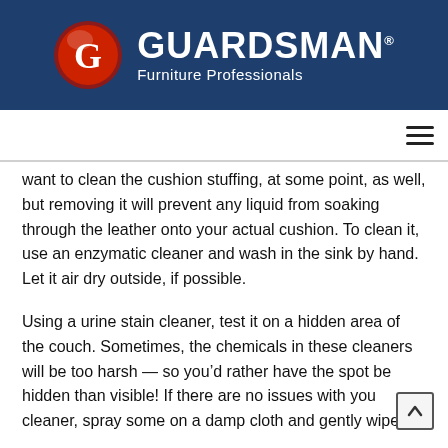[Figure (logo): Guardsman Furniture Professionals logo: red circle with white G letter, beside bold white text 'GUARDSMAN' and subtitle 'Furniture Professionals' on dark navy blue background]
want to clean the cushion stuffing, at some point, as well, but removing it will prevent any liquid from soaking through the leather onto your actual cushion. To clean it, use an enzymatic cleaner and wash in the sink by hand. Let it air dry outside, if possible.
Using a urine stain cleaner, test it on a hidden area of the couch. Sometimes, the chemicals in these cleaners will be too harsh — so you'd rather have the spot be hidden than visible! If there are no issues with your cleaner, spray some on a damp cloth and gently wipe